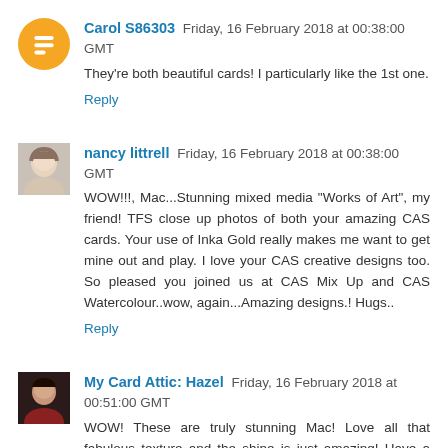Carol S86303  Friday, 16 February 2018 at 00:38:00 GMT
They're both beautiful cards! I particularly like the 1st one.
Reply
nancy littrell  Friday, 16 February 2018 at 00:38:00 GMT
WOW!!!, Mac...Stunning mixed media "Works of Art", my friend! TFS close up photos of both your amazing CAS cards. Your use of Inka Gold really makes me want to get mine out and play. I love your CAS creative designs too. So pleased you joined us at CAS Mix Up and CAS Watercolour..wow, again...Amazing designs.! Hugs..
Reply
My Card Attic: Hazel  Friday, 16 February 2018 at 00:51:00 GMT
WOW! These are truly stunning Mac! Love all that fabulous texture and the shine is just amazing! Have a wonderful